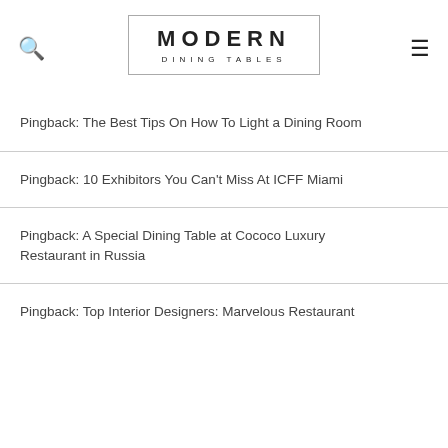MODERN DINING TABLES
Pingback: The Best Tips On How To Light a Dining Room
Pingback: 10 Exhibitors You Can't Miss At ICFF Miami
Pingback: A Special Dining Table at Cococo Luxury Restaurant in Russia
Pingback: Top Interior Designers: Marvelous Restaurant